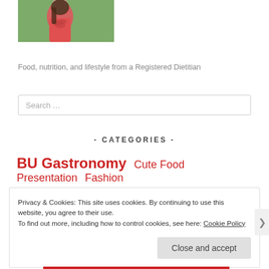[Figure (photo): Woman in red dress standing outdoors]
Food, nutrition, and lifestyle from a Registered Dietitian
Search …
- CATEGORIES -
BU Gastronomy  Cute Food Presentation  Fashion
Privacy & Cookies: This site uses cookies. By continuing to use this website, you agree to their use.
To find out more, including how to control cookies, see here: Cookie Policy
Close and accept